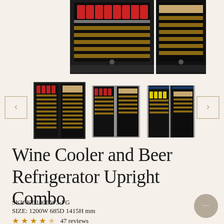[Figure (photo): Main product image showing wine cooler and beer refrigerator combo unit with glass doors, beer cans on top shelf and wine bottles on lower shelves, dark interior, split view showing two sections]
[Figure (photo): Thumbnail carousel with three product images of the wine cooler and beer refrigerator combo in different color finishes (black, silver, mixed), with left and right navigation arrows]
Wine Cooler and Beer Refrigerator Upright Combo
SKU:KB100BW3-FG
SIZE: 1200W 685D 1415H mm
★★★★☆ 47 reviews